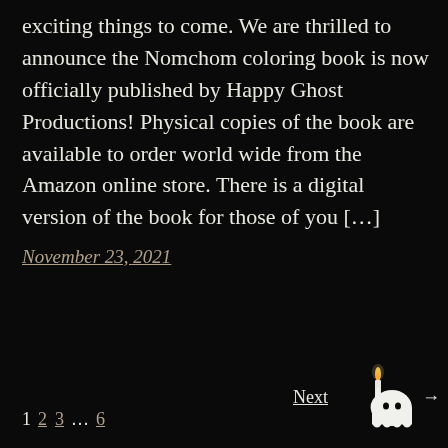exciting things to come. We are thrilled to announce the Nomchom coloring book is now officially published by Happy Ghost Productions! Physical copies of the book are available to order world wide from the Amazon online store. There is a digital version of the book for those of you [...]
November 23, 2021
1 2 3 … 6   Next →